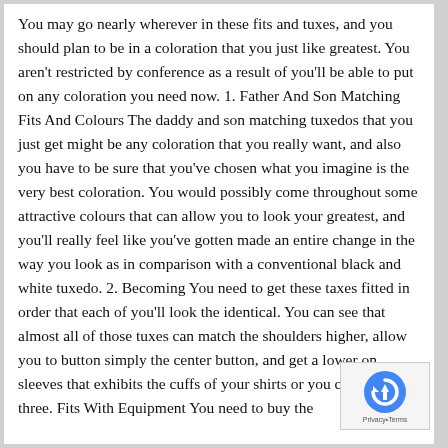You may go nearly wherever in these fits and tuxes, and you should plan to be in a coloration that you just like greatest. You aren't restricted by conference as a result of you'll be able to put on any coloration you need now. 1. Father And Son Matching Fits And Colours The daddy and son matching tuxedos that you just get might be any coloration that you really want, and also you have to be sure that you've chosen what you imagine is the very best coloration. You would possibly come throughout some attractive colours that can allow you to look your greatest, and you'll really feel like you've gotten made an entire change in the way you look as in comparison with a conventional black and white tuxedo. 2. Becoming You need to get these taxes fitted in order that each of you'll look the identical. You can see that almost all of those tuxes can match the shoulders higher, allow you to button simply the center button, and get a lower on sleeves that exhibits the cuffs of your shirts or you cufflinks. three. Fits With Equipment You need to buy the
[Figure (logo): reCAPTCHA logo with Privacy and Terms text overlay in bottom-right corner]